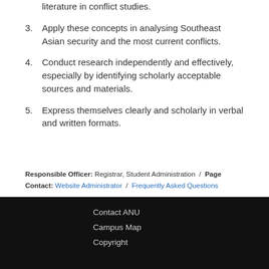literature in conflict studies.
3. Apply these concepts in analysing Southeast Asian security and the most current conflicts.
4. Conduct research independently and effectively, especially by identifying scholarly acceptable sources and materials.
5. Express themselves clearly and scholarly in verbal and written formats.
Responsible Officer: Registrar, Student Administration / Page Contact: Website Administrator / Frequently Asked Questions
Contact ANU
Campus Map
Copyright